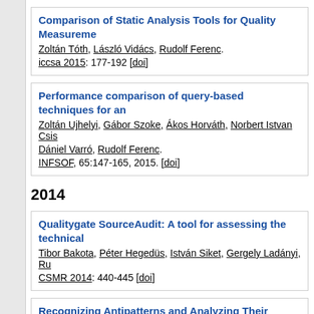Comparison of Static Analysis Tools for Quality Measurement
Zoltán Tóth, László Vidács, Rudolf Ferenc.
iccsa 2015: 177-192 [doi]
Performance comparison of query-based techniques for anti-pattern detection
Zoltán Ujhelyi, Gábor Szoke, Ákos Horváth, Norbert Istvan Csis..., Dániel Varró, Rudolf Ferenc.
INFSOF, 65:147-165, 2015. [doi]
2014
Qualitygate SourceAudit: A tool for assessing the technical...
Tibor Bakota, Péter Hegedüs, István Siket, Gergely Ladányi, Ru...
CSMR 2014: 440-445 [doi]
Recognizing Antipatterns and Analyzing Their Effects on Software Maintainability